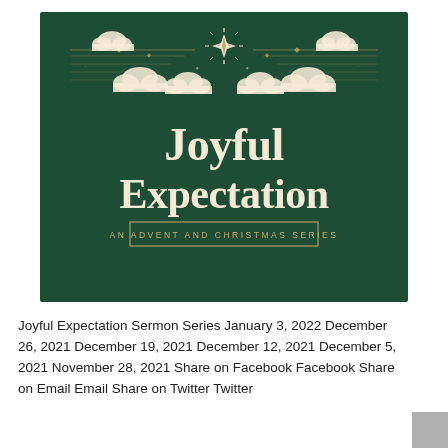[Figure (illustration): Dark green square banner image for 'Joyful Expectation — An Advent and Christmas Series'. Features decorative gold/cream lines, clouds, and a central starburst at the top, with large serif text 'Joyful Expectation' and a bordered subtitle 'AN ADVENT AND CHRISTMAS SERIES' below.]
Joyful Expectation Sermon Series January 3, 2022 December 26, 2021 December 19, 2021 December 12, 2021 December 5, 2021 November 28, 2021 Share on Facebook Facebook Share on Email Email Share on Twitter Twitter